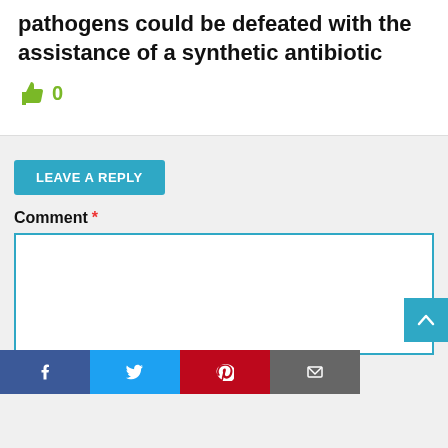pathogens could be defeated with the assistance of a synthetic antibiotic
👍 0
LEAVE A REPLY
Comment *
Name *